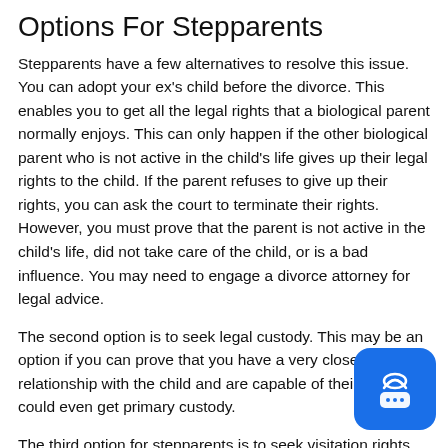Options For Stepparents
Stepparents have a few alternatives to resolve this issue. You can adopt your ex’s child before the divorce. This enables you to get all the legal rights that a biological parent normally enjoys. This can only happen if the other biological parent who is not active in the child’s life gives up their legal rights to the child. If the parent refuses to give up their rights, you can ask the court to terminate their rights. However, you must prove that the parent is not active in the child’s life, did not take care of the child, or is a bad influence. You may need to engage a divorce attorney for legal advice.
The second option is to seek legal custody. This may be an option if you can prove that you have a very close relationship with the child and are capable of their care. You could even get primary custody.
The third option for stepparents is to seek visitation rights. You may need to provide help for child care or pay child